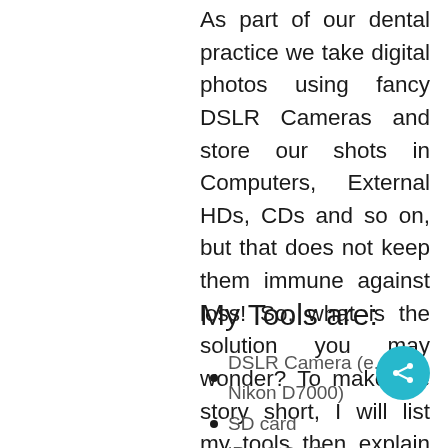As part of our dental practice we take digital photos using fancy DSLR Cameras and store our shots in Computers, External HDs, CDs and so on, but that does not keep them immune against loss! So, what is the solution you may wonder? To make the story short, I will list my tools then explain how to get them into work, which will provide us with a great way to protect our shots.
My Tools are:
DSLR Camera (e.g. Nikon D7000)
SD card
iPad2 Or iPad
iPad Camera Connection Kit